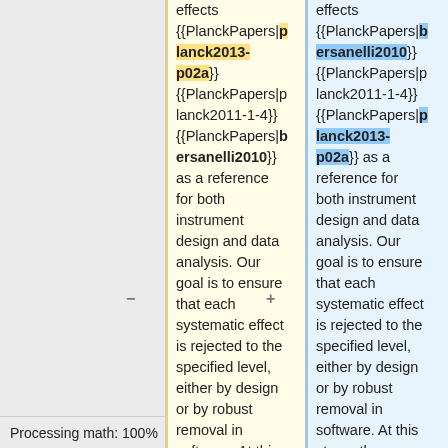effects {{PlanckPapers|planck2013-p02a}} {{PlanckPapers|planck2011-1-4}} {{PlanckPapers|bersanelli2010}} as a reference for both instrument design and data analysis. Our goal is to ensure that each systematic effect is rejected to the specified level, either by design or by robust removal in software. At this stage, the
effects {{PlanckPapers|bersanelli2010}} {{PlanckPapers|planck2011-1-4}} {{PlanckPapers|planck2013-p02a}} as a reference for both instrument design and data analysis. Our goal is to ensure that each systematic effect is rejected to the specified level, either by design or by robust removal in software. At this stage, the following effects
Processing math: 100%